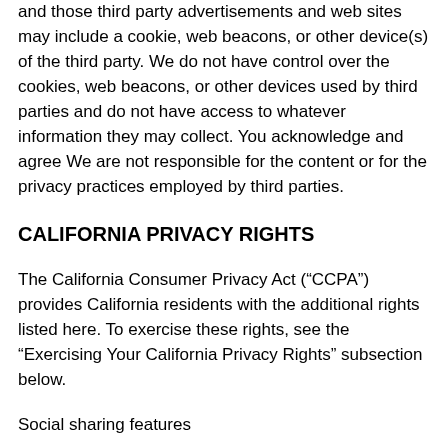and those third party advertisements and web sites may include a cookie, web beacons, or other device(s) of the third party. We do not have control over the cookies, web beacons, or other devices used by third parties and do not have access to whatever information they may collect. You acknowledge and agree We are not responsible for the content or for the privacy practices employed by third parties.
CALIFORNIA PRIVACY RIGHTS
The California Consumer Privacy Act (“CCPA”) provides California residents with the additional rights listed here. To exercise these rights, see the “Exercising Your California Privacy Rights” subsection below.
Social sharing features
You have the right to know and see what information we have collected about you over the past 12 months, including:
-The categories of information we have